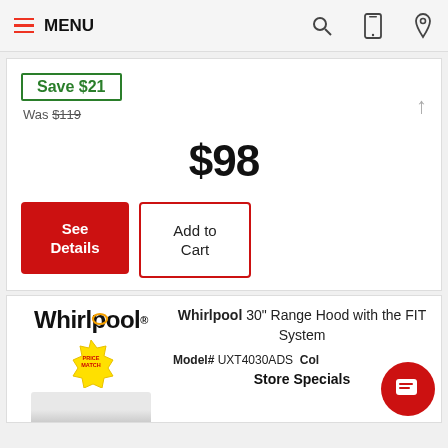MENU
Save $21
Was $119
$98
See Details
Add to Cart
[Figure (logo): Whirlpool brand logo with yellow swoosh and Price Match badge]
Whirlpool 30" Range Hood with the FIT System
Model# UXT4030ADS  Col
Store Specials